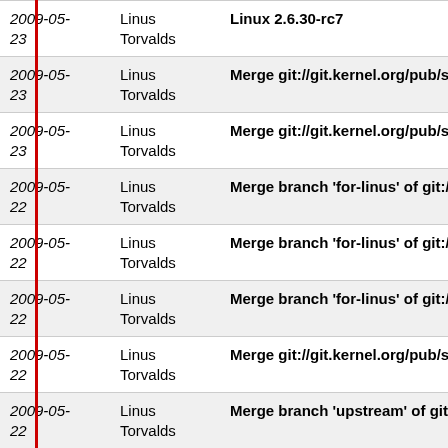| Date | Author | Message |
| --- | --- | --- |
| 2009-05-23 | Linus Torvalds | Linux 2.6.30-rc7 |
| 2009-05-23 | Linus Torvalds | Merge git://git.kernel.org/pub/s… |
| 2009-05-23 | Linus Torvalds | Merge git://git.kernel.org/pub/s… |
| 2009-05-22 | Linus Torvalds | Merge branch 'for-linus' of git:/… |
| 2009-05-22 | Linus Torvalds | Merge branch 'for-linus' of git:/… |
| 2009-05-22 | Linus Torvalds | Merge branch 'for-linus' of git:/… |
| 2009-05-22 | Linus Torvalds | Merge git://git.kernel.org/pub/s… |
| 2009-05-22 | Linus Torvalds | Merge branch 'upstream' of git:… |
| 2009-05-22 | Linus Torvalds | Merge branch 'merge' of git://gi… |
| 2009-05-22 | Linus Torvalds | Merge branch 'sh/for-2.6.30' of … |
| 2009-05-20 | Linus Torvalds | Merge branch 'for-linus' of git:/… |